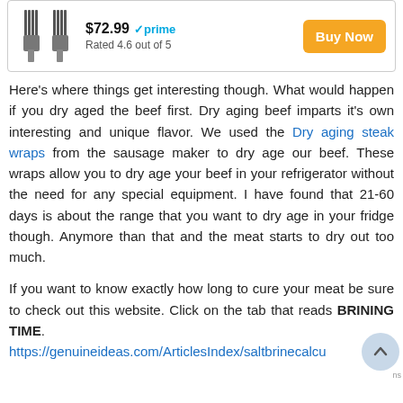[Figure (screenshot): Product listing box showing meat forks/thermometers image, price $72.99 with Amazon Prime badge, rating 'Rated 4.6 out of 5', and orange 'Buy Now' button]
Here's where things get interesting though. What would happen if you dry aged the beef first. Dry aging beef imparts it's own interesting and unique flavor. We used the Dry aging steak wraps from the sausage maker to dry age our beef. These wraps allow you to dry age your beef in your refrigerator without the need for any special equipment. I have found that 21-60 days is about the range that you want to dry age in your fridge though. Anymore than that and the meat starts to dry out too much.
If you want to know exactly how long to cure your meat be sure to check out this website. Click on the tab that reads BRINING TIME. https://genuineideas.com/ArticlesIndex/saltbrinecalcu…